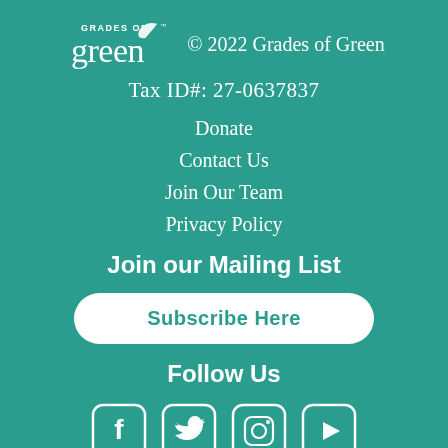[Figure (logo): Grades of Green logo with leaf icon and copyright notice: © 2022 Grades of Green]
Tax ID#: 27-0637837
Donate
Contact Us
Join Our Team
Privacy Policy
Join our Mailing List
Subscribe Here
Follow Us
[Figure (illustration): Four social media icons in rounded square outlines: Facebook, Twitter, Instagram, YouTube]